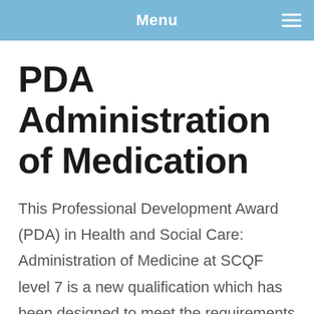Menu
PDA Administration of Medication
This Professional Development Award (PDA) in Health and Social Care: Administration of Medicine at SCQF level 7 is a new qualification which has been designed to meet the requirements of social service workers who are in a job role where they assist in or administer